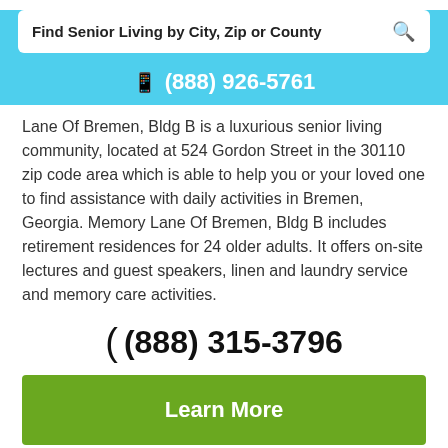Find Senior Living by City, Zip or County
(888) 926-5761
Lane Of Bremen, Bldg B is a luxurious senior living community, located at 524 Gordon Street in the 30110 zip code area which is able to help you or your loved one to find assistance with daily activities in Bremen, Georgia. Memory Lane Of Bremen, Bldg B includes retirement residences for 24 older adults. It offers on-site lectures and guest speakers, linen and laundry service and memory care activities.
(888) 315-3796
Learn More
View Pricing & Availability